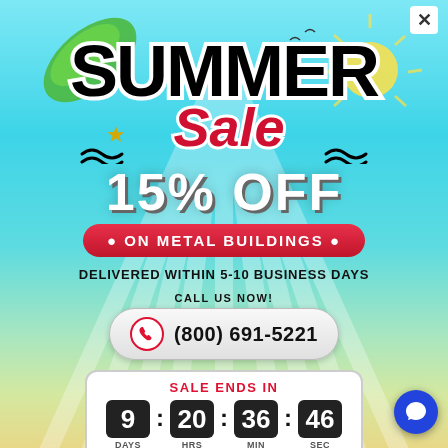[Figure (infographic): Summer Sale promotional popup with sky and beach gradient background, close button, tropical leaf decoration, sun rays]
SUMMER Sale
15% OFF
• ON METAL BUILDINGS •
DELIVERED WITHIN 5-10 BUSINESS DAYS
CALL US NOW!
(800) 691-5221
SALE ENDS IN
9 : 20 : 36 : 46
DAYS   HRS   MIN   SEC
*Offer Valid in the Limited States Only*